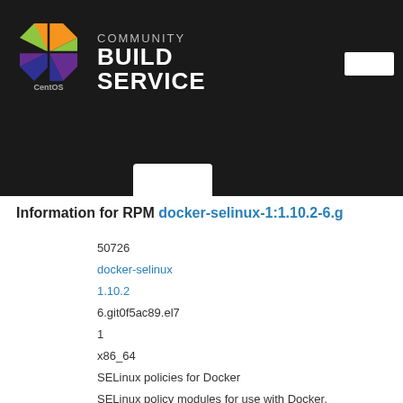[Figure (logo): CentOS Community Build Service header with CentOS logo and colored geometric icon on dark background]
Information for RPM docker-selinux-1:1.10.2-6.g...
50726
docker-selinux
1.10.2
6.git0f5ac89.el7
1
x86_64
SELinux policies for Docker
SELinux policy modules for use with Docker.
2016-03-01 19:44:17 GMT
52.59 KB